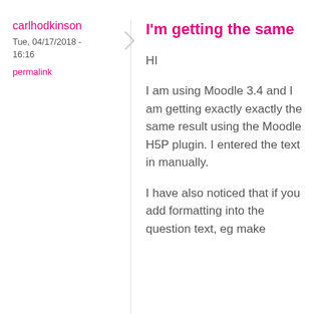carlhodkinson
Tue, 04/17/2018 - 16:16
permalink
I'm getting the same
HI

I am using Moodle 3.4 and I am getting exactly exactly the same result using the Moodle H5P plugin. I entered the text in manually.

I have also noticed that if you add formatting into the question text, eg make